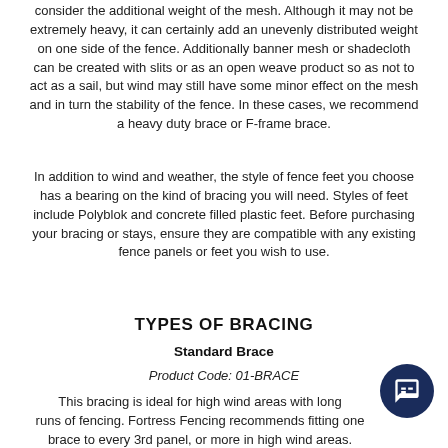consider the additional weight of the mesh. Although it may not be extremely heavy, it can certainly add an unevenly distributed weight on one side of the fence. Additionally banner mesh or shadecloth can be created with slits or as an open weave product so as not to act as a sail, but wind may still have some minor effect on the mesh and in turn the stability of the fence. In these cases, we recommend a heavy duty brace or F-frame brace.
In addition to wind and weather, the style of fence feet you choose has a bearing on the kind of bracing you will need. Styles of feet include Polyblok and concrete filled plastic feet. Before purchasing your bracing or stays, ensure they are compatible with any existing fence panels or feet you wish to use.
TYPES OF BRACING
Standard Brace
Product Code: 01-BRACE
This bracing is ideal for high wind areas with long runs of fencing. Fortress Fencing recommends fitting one brace to every 3rd panel, or more in high wind areas.